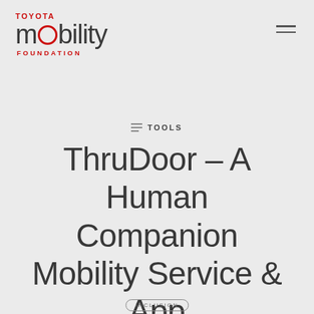[Figure (logo): Toyota Mobility Foundation logo with TOYOTA in red uppercase, 'mobility' in large grey light font with the 'o' replaced by a red circle, and FOUNDATION in red uppercase below]
≡ TOOLS
ThruDoor – A Human Companion Mobility Service & App
INCLUSION